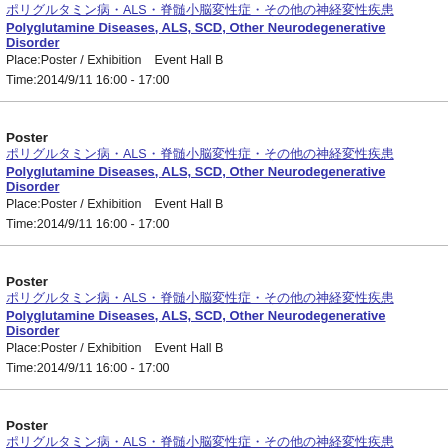ポリグルタミン病・ALS・脊髄小脳変性症・その他の神経変性疾患
Polyglutamine Diseases, ALS, SCD, Other Neurodegenerative Disorder
Place:Poster / Exhibition　Event Hall B
Time:2014/9/11 16:00 - 17:00
Poster
ポリグルタミン病・ALS・脊髄小脳変性症・その他の神経変性疾患
Polyglutamine Diseases, ALS, SCD, Other Neurodegenerative Disorder
Place:Poster / Exhibition　Event Hall B
Time:2014/9/11 16:00 - 17:00
Poster
ポリグルタミン病・ALS・脊髄小脳変性症・その他の神経変性疾患
Polyglutamine Diseases, ALS, SCD, Other Neurodegenerative Disorder
Place:Poster / Exhibition　Event Hall B
Time:2014/9/11 16:00 - 17:00
Poster
ポリグルタミン病・ALS・脊髄小脳変性症・その他の神経変性疾患
Polyglutamine Diseases, ALS, SCD, Other Neurodegenerative Disorder
Place:Poster / Exhibition　Event Hall B